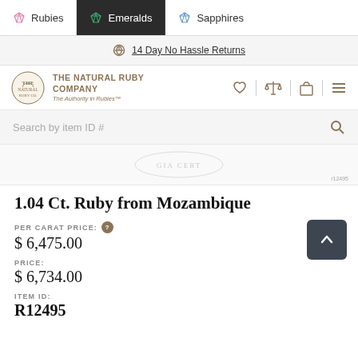Rubies | Emeralds | Sapphires
14 Day No Hassle Returns
THE NATURAL RUBY COMPANY – The Authority in Rubies™
Search by item ID #
1.04 Ct. Ruby from Mozambique
PER CARAT PRICE:
$ 6,475.00
PRICE:
$ 6,734.00
ITEM ID:
R12495